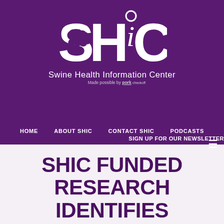[Figure (logo): SHIC (Swine Health Information Center) logo — large white stylized letters SHiC with a pig silhouette, on purple background. Subtitle: Swine Health Information Center. Made possible by Pork Checkoff.]
HOME   ABOUT SHIC   CONTACT SHIC   PODCASTS   SIGN UP FOR OUR NEWSLETTER
SHIC FUNDED RESEARCH IDENTIFIES FEED BIOSECURITY AS CRITICAL TO GLOBAL